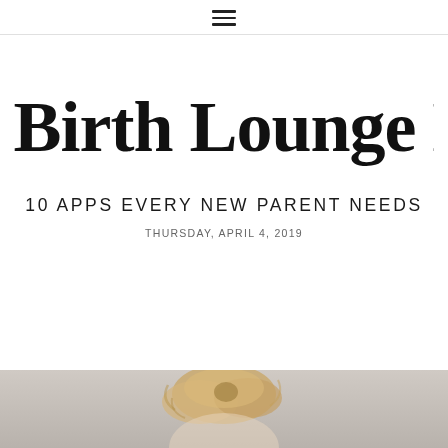☰
The Birth Lounge Blog
10 APPS EVERY NEW PARENT NEEDS
THURSDAY, APRIL 4, 2019
[Figure (photo): Partial photo of a person with blonde hair pulled up, light gray background, cropped at bottom of page]